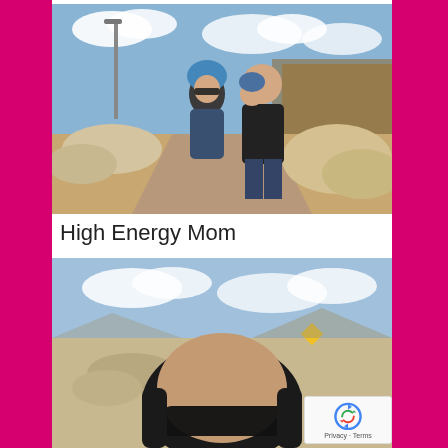[Figure (photo): Outdoor photo of a woman and man posing on a rocky trail path. The woman wears a blue beanie hat and sunglasses, and the man wears a dark button-up shirt. Rocky limestone boulders border the path. Blue sky with clouds and dry brush/trees visible in background. A street lamp is visible on the left.]
High Energy Mom
[Figure (photo): Outdoor selfie photo of a woman with dark hair and cat-eye sunglasses. Behind her is a dry, rocky landscape with a paved road extending into the distance. A yellow road sign is visible. Blue sky with clouds in the background.]